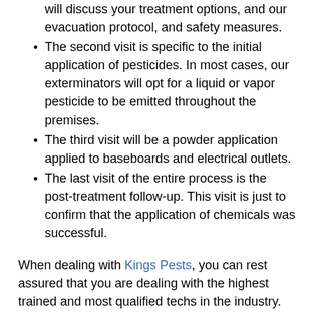will discuss your treatment options, and our evacuation protocol, and safety measures.
The second visit is specific to the initial application of pesticides. In most cases, our exterminators will opt for a liquid or vapor pesticide to be emitted throughout the premises.
The third visit will be a powder application applied to baseboards and electrical outlets.
The last visit of the entire process is the post-treatment follow-up. This visit is just to confirm that the application of chemicals was successful.
When dealing with Kings Pests, you can rest assured that you are dealing with the highest trained and most qualified techs in the industry. Our techs utilize cutting-edge technology combined with tried and proven methods to deliver the best possible. When conventional treatment is required and chosen as a means of pest management, we make sure we follow